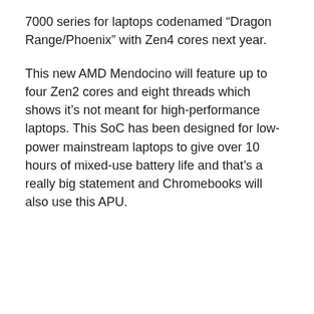7000 series for laptops codenamed “Dragon Range/Phoenix” with Zen4 cores next year.
This new AMD Mendocino will feature up to four Zen2 cores and eight threads which shows it’s not meant for high-performance laptops. This SoC has been designed for low-power mainstream laptops to give over 10 hours of mixed-use battery life and that’s a really big statement and Chromebooks will also use this APU.